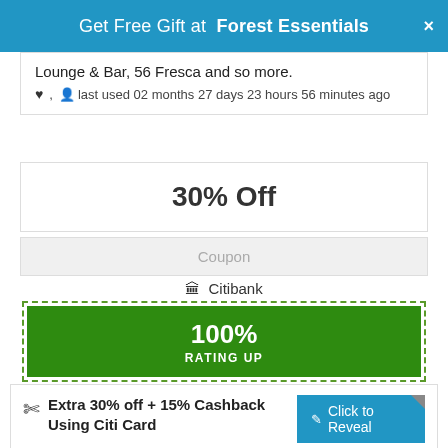Get Free Gift at Forest Essentials ×
Lounge & Bar, 56 Fresca and so more.
♥ , 👤 last used 02 months 27 days 23 hours 56 minutes ago
30% Off
Coupon
🏛 Citibank
100% RATING UP
Extra 30% off + 15% Cashback Using Citi Card
Click to Reveal
-
(Checked on 24 Aug, 2022) Get extra 30% off on all